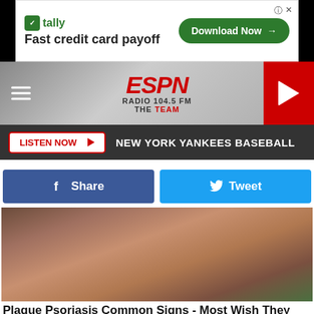[Figure (screenshot): Tally Fast credit card payoff advertisement banner with Download Now button]
[Figure (logo): ESPN Radio 104.5 FM The Team logo with hamburger menu and play button]
LISTEN NOW ▶  NEW YORK YANKEES BASEBALL
[Figure (screenshot): Facebook Share button and Twitter Tweet button side by side]
[Figure (photo): Close-up photo of a person's neck/shoulder area, brownish skin tones]
Plaque Psoriasis Common Signs - Most Wish They Hadn't Ignored Them
Plaque Psoriasis | Search Ads
[Figure (screenshot): Tally Fast credit card payoff advertisement banner overlay at bottom with Download Now button]